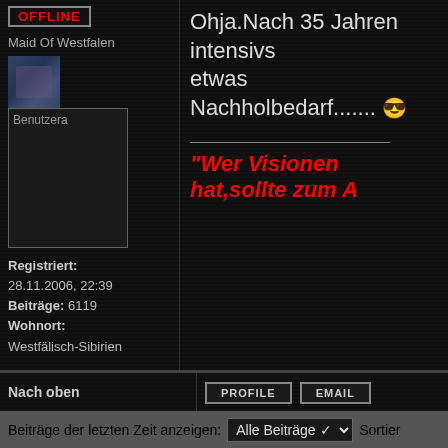OFFLINE
Maid Of Westfalen
[Figure (photo): Small user avatar image]
[Figure (photo): Large user avatar placeholder labeled Benutzera]
Registriert: 28.11.2006, 22:39 Beiträge: 6119 Wohnort: Westfälisch-Sibirien
Ohja.Nach 35 Jahren intensivs etwas Nachholbedarf....... 😎
"Wer Visionen hat,sollte zum A
Nach oben
PROFILE
EMAIL
Beiträge der letzten Zeit anzeigen: Alle Beiträge ✓ Sortier
Los
NEW TOPIC   POST REPLY   Seite 2 von 2   [ 16 Beiträge ]